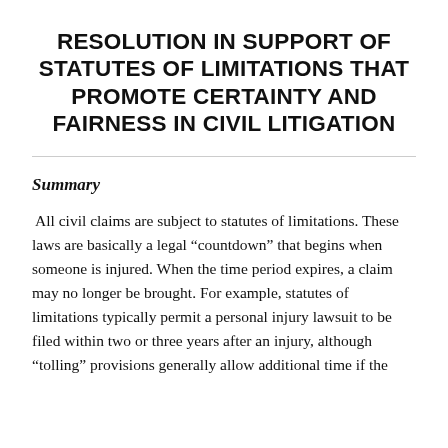RESOLUTION IN SUPPORT OF STATUTES OF LIMITATIONS THAT PROMOTE CERTAINTY AND FAIRNESS IN CIVIL LITIGATION
Summary
All civil claims are subject to statutes of limitations. These laws are basically a legal “countdown” that begins when someone is injured. When the time period expires, a claim may no longer be brought. For example, statutes of limitations typically permit a personal injury lawsuit to be filed within two or three years after an injury, although “tolling” provisions generally allow additional time if the